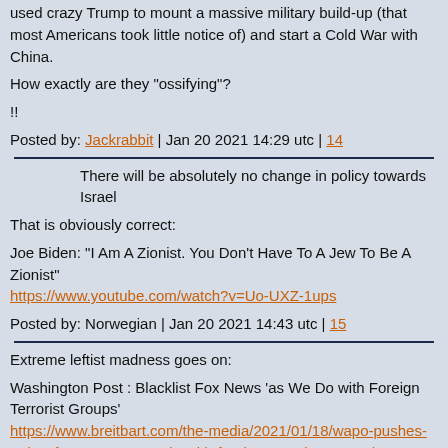used crazy Trump to mount a massive military build-up (that most Americans took little notice of) and start a Cold War with China.
How exactly are they "ossifying"?
!!
Posted by: Jackrabbit | Jan 20 2021 14:29 utc | 14
There will be absolutely no change in policy towards Israel
That is obviously correct:
Joe Biden: "I Am A Zionist. You Don't Have To A Jew To Be A Zionist"
https://www.youtube.com/watch?v=Uo-UXZ-1ups
Posted by: Norwegian | Jan 20 2021 14:43 utc | 15
Extreme leftist madness goes on:
Washington Post : Blacklist Fox News ‘as We Do with Foreign Terrorist Groups'
https://www.breitbart.com/the-media/2021/01/18/wapo-pushes-to-bar-fox-news-as-we-do-with-foreign-terrorist-groups/